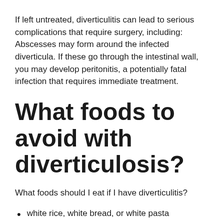If left untreated, diverticulitis can lead to serious complications that require surgery, including: Abscesses may form around the infected diverticula. If these go through the intestinal wall, you may develop peritonitis, a potentially fatal infection that requires immediate treatment.
What foods to avoid with diverticulosis?
What foods should I eat if I have diverticulitis?
white rice, white bread, or white pasta
(the next line is partially visible)